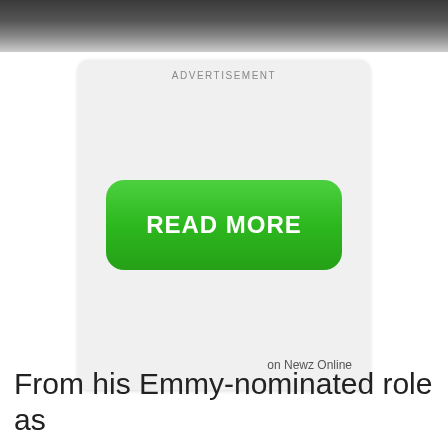[Figure (screenshot): Dark gradient banner at the top of the page, resembling a cropped photo background]
[Figure (screenshot): Advertisement box with light gray background containing a green READ MORE button and 'on Newz Online' text attribution]
From his Emmy-nominated role as